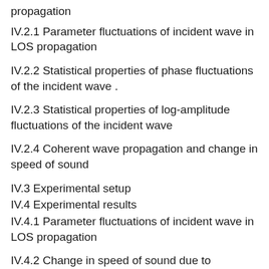propagation
IV.2.1 Parameter fluctuations of incident wave in LOS propagation
IV.2.2 Statistical properties of phase fluctuations of the incident wave .
IV.2.3 Statistical properties of log-amplitude fluctuations of the incident wave
IV.2.4 Coherent wave propagation and change in speed of sound
IV.3 Experimental setup
IV.4 Experimental results
IV.4.1 Parameter fluctuations of incident wave in LOS propagation
IV.4.2 Change in speed of sound due to turbulent flow
IV.5 Conclusion